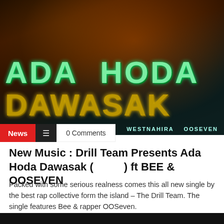[Figure (photo): Music single cover art showing two artists against a dark fiery background with large stylized text reading 'ADA HODA DAWASAK' with artist names WESTNAHIRA and OOSEVEN at the bottom right]
News  ≡  0 Comments
New Music : Drill Team Presents Ada Hoda Dawasak (  ) ft BEE & OOSEVEN
Packed with some serious realness comes this all new single by the best rap collective form the island – The Drill Team. The single features Bee & rapper OOSeven.